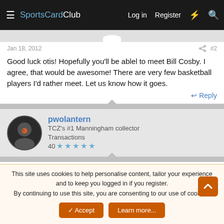SportsCardClub — Log in  Register
Jan 18, 2012  #2
Good luck otis! Hopefully you'll be ablel to meet Bill Cosby. I agree, that would be awesome! There are very few basketball players I'd rather meet. Let us know how it goes.
Reply
pwolantern
TCZ's #1 Manningham collector
Transactions
40 ★★★★★
Jan 18, 2012  #3
This site uses cookies to help personalise content, tailor your experience and to keep you logged in if you register.
By continuing to use this site, you are consenting to our use of cookies.